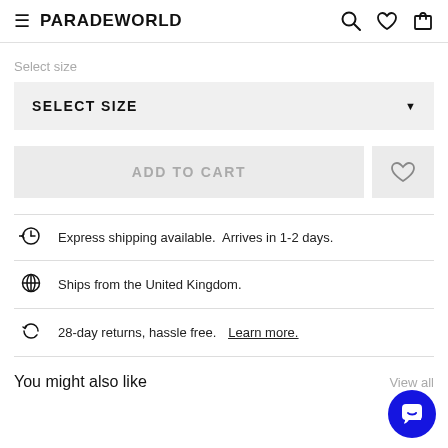PARADEWORLD
Select size
SELECT SIZE
ADD TO CART
Express shipping available.  Arrives in 1-2 days.
Ships from the United Kingdom.
28-day returns, hassle free. Learn more.
You might also like
View all